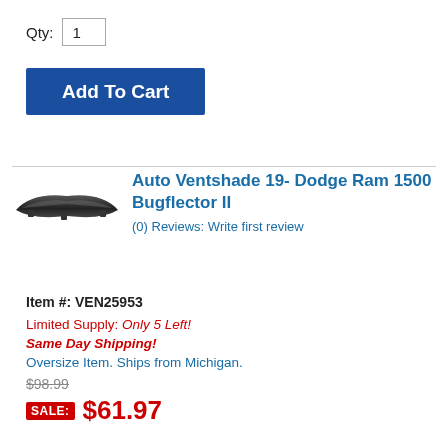Qty: 1
Add To Cart
Auto Ventshade 19- Dodge Ram 1500 Bugflector II
(0) Reviews: Write first review
[Figure (photo): Auto part - dark curved bugflector/deflector strip]
Item #: VEN25953
Limited Supply: Only 5 Left!
Same Day Shipping!
Oversize Item. Ships from Michigan.
$98.99
SALE: $61.97